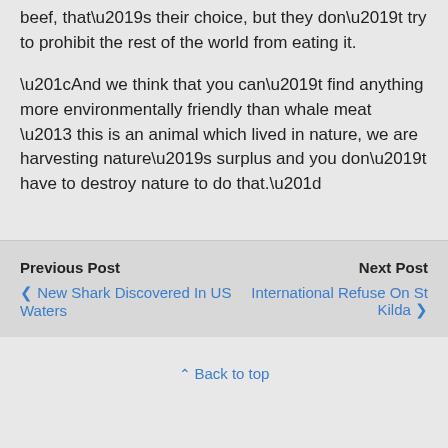beef, that's their choice, but they don't try to prohibit the rest of the world from eating it.
“And we think that you can’t find anything more environmentally friendly than whale meat – this is an animal which lived in nature, we are harvesting nature’s surplus and you don’t have to destroy nature to do that.”
Previous Post | New Shark Discovered In US Waters | Next Post | International Refuse On St Kilda | Back to top